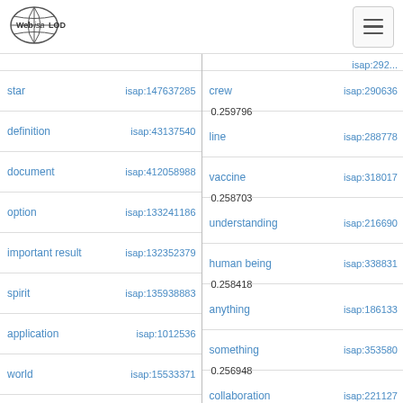[Figure (logo): Web isa LOD globe logo]
| term | isap id | term (right) | isap id (right) |
| --- | --- | --- | --- |
| star | isap:147637285 | crew | isap:290636 |
| definition | isap:43137540 | line | isap:288778 |
| document | isap:412058988 | vaccine | isap:318017 |
| option | isap:133241186 | understanding | isap:216690 |
| important result | isap:132352379 | human being | isap:338831 |
| spirit | isap:135938883 | anything | isap:186133 |
| application | isap:1012536 | something | isap:353580 |
| world | isap:15533371 | collaboration | isap:221127 |
| disappointment | isap:322804498 | thing | isap:338007 |
| collection | isap:43840904 | university | isap:192274 |
| gas | isap:486549775 |  |  |